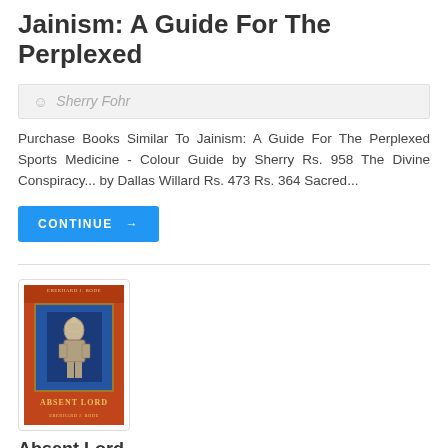Jainism: A Guide For The Perplexed
Sherry Fohr
Purchase Books Similar To Jainism: A Guide For The Perplexed Sports Medicine - Colour Guide by Sherry Rs. 958 The Divine Conspiracy... by Dallas Willard Rs. 473 Rs. 364 Sacred...
[Figure (illustration): Book cover of 'Absent Lord' with orange background, blue central illustration of a religious figure, and gold lettering]
Absent Lord...